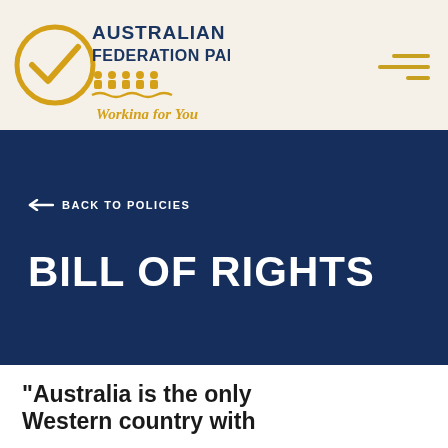AUSTRALIAN FEDERATION PARTY — Working for You
← BACK TO POLICIES
BILL OF RIGHTS
"Australia is the only Western country with a constitutional